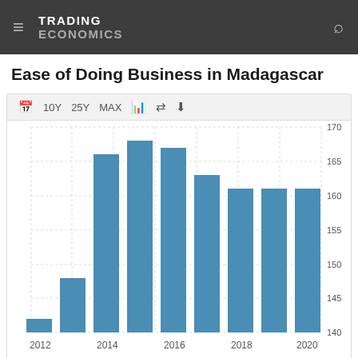TRADING ECONOMICS
Ease of Doing Business in Madagascar
[Figure (bar-chart): Ease of Doing Business in Madagascar]